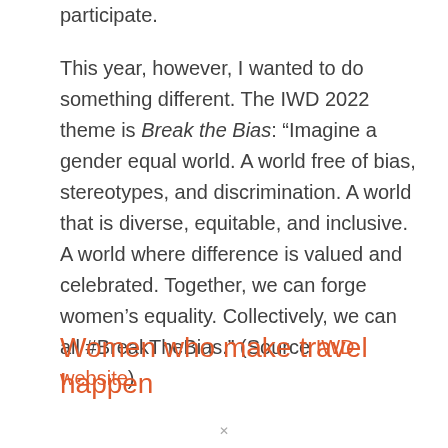participate.
This year, however, I wanted to do something different. The IWD 2022 theme is Break the Bias: “Imagine a gender equal world. A world free of bias, stereotypes, and discrimination. A world that is diverse, equitable, and inclusive. A world where difference is valued and celebrated. Together, we can forge women’s equality. Collectively, we can all #BreakTheBias.” (Source IWD website)
Women who make travel happen